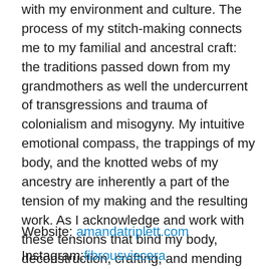with my environment and culture. The process of my stitch-making connects me to my familial and ancestral craft: the traditions passed down from my grandmothers as well the undercurrent of transgressions and trauma of colonialism and misogyny. My intuitive emotional compass, the trappings of my body, and the knotted webs of my ancestry are inherently a part of the tension of my making and the resulting work. As I acknowledge and work with these tensions that bind my body, deconstruction, crafting, and mending become an allegory for embodied practice, reconciling past with present and visualizing paths to new ways of being with myself and my environment.
Website: amandatriplett.com
Instagram: fibrousviscera